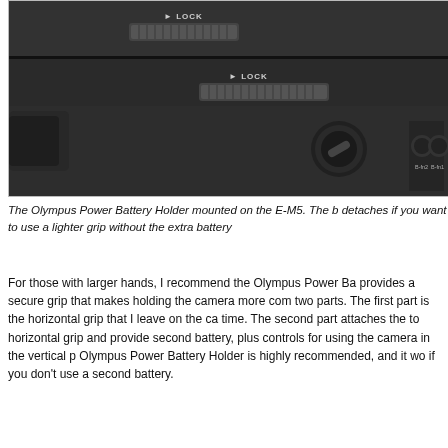[Figure (photo): Close-up photo of an Olympus Power Battery Holder mounted on the E-M5 camera. The device is dark gray/black, showing LOCK labels, a dial/wheel control, and battery slot indicators (B-fn1, B-fn2) on the right side.]
The Olympus Power Battery Holder mounted on the E-M5. The b detaches if you want to use a lighter grip without the extra battery
For those with larger hands, I recommend the Olympus Power Ba provides a secure grip that makes holding the camera more com two parts. The first part is the horizontal grip that I leave on the ca time. The second part attaches the to horizontal grip and provide second battery, plus controls for using the camera in the vertical p Olympus Power Battery Holder is highly recommended, and it wo if you don't use a second battery.